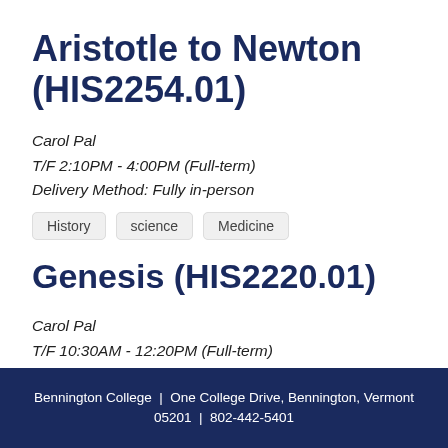Aristotle to Newton (HIS2254.01)
Carol Pal
T/F 2:10PM - 4:00PM (Full-term)
Delivery Method: Fully in-person
History
science
Medicine
Genesis (HIS2220.01)
Carol Pal
T/F 10:30AM - 12:20PM (Full-term)
Bennington College | One College Drive, Bennington, Vermont 05201 | 802-442-5401